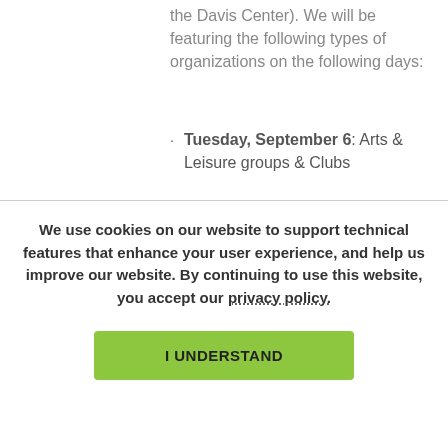the Davis Center). We will be featuring the following types of organizations on the following days:
Tuesday, September 6: Arts & Leisure groups & Clubs
We use cookies on our website to support technical features that enhance your user experience, and help us improve our website. By continuing to use this website, you accept our privacy policy.